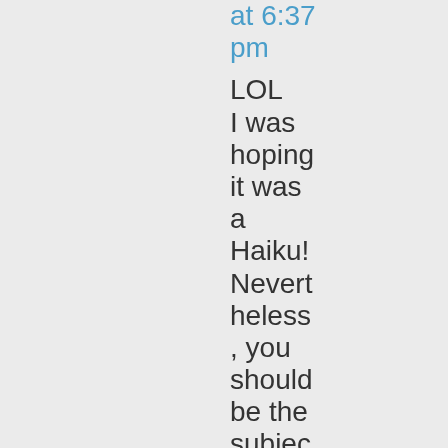at 6:37 pm
LOL I was hoping it was a Haiku! Nevertheless, you should be the subject of many